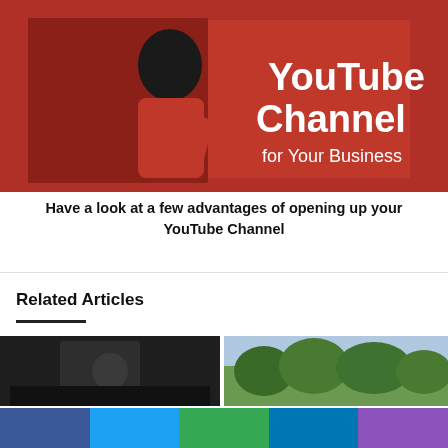[Figure (photo): Red background promotional image showing a woman in a red outfit with text 'YouTube Channel for Your Business']
Have a look at a few advantages of opening up your YouTube Channel
Related Articles
[Figure (photo): Dark thumbnail image for a related article]
[Figure (photo): Outdoor/nature thumbnail image for a related article]